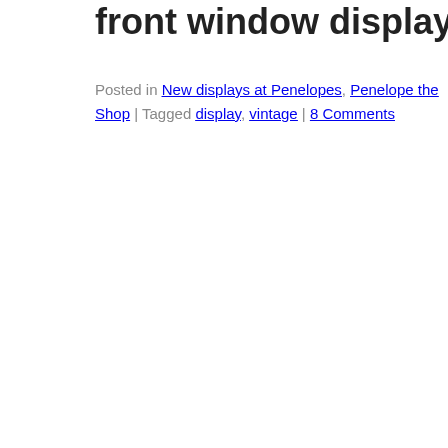front window display, moving the summer display...
Posted in New displays at Penelopes, Penelope the Shop | Tagged display, vintage | 8 Comments